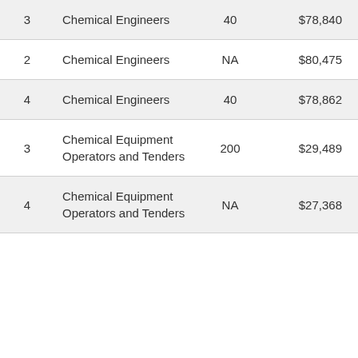| 3 | Chemical Engineers | 40 | $78,840 | $103, |
| 2 | Chemical Engineers | NA | $80,475 | $96, |
| 4 | Chemical Engineers | 40 | $78,862 | $94, |
| 3 | Chemical Equipment Operators and Tenders | 200 | $29,489 | $42, |
| 4 | Chemical Equipment Operators and Tenders | NA | $27,368 | $29, |